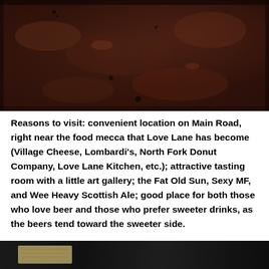[Figure (photo): Close-up photo of dark brown textured surface, likely a baked or roasted food item such as a dark bread crust or roasted meat, with a rough mottled surface.]
Reasons to visit: convenient location on Main Road, right near the food mecca that Love Lane has become (Village Cheese, Lombardi's, North Fork Donut Company, Love Lane Kitchen, etc.); attractive tasting room with a little art gallery; the Fat Old Sun, Sexy MF, and Wee Heavy Scottish Ale; good place for both those who love beer and those who prefer sweeter drinks, as the beers tend toward the sweeter side.
[Figure (photo): Partial view of a photo at the bottom of the page showing a dark background with some light-colored elements, possibly a menu or printed material.]